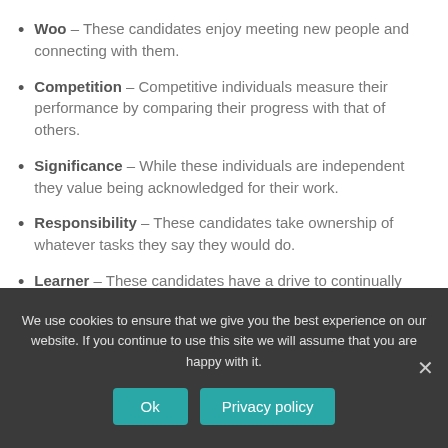Woo – These candidates enjoy meeting new people and connecting with them.
Competition – Competitive individuals measure their performance by comparing their progress with that of others.
Significance – While these individuals are independent they value being acknowledged for their work.
Responsibility – These candidates take ownership of whatever tasks they say they would do.
Learner – These candidates have a drive to continually learn and are constantly seeking outlets for self-
We use cookies to ensure that we give you the best experience on our website. If you continue to use this site we will assume that you are happy with it.